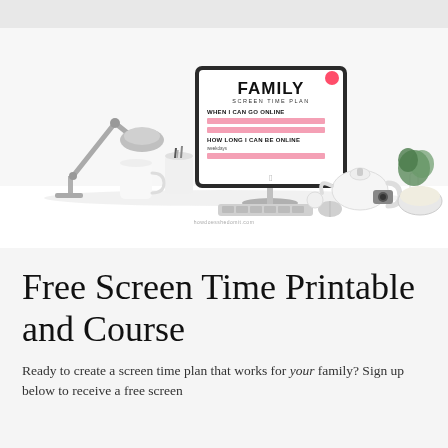[Figure (photo): A desktop scene showing a computer monitor displaying a Family Screen Time Plan printable, with a desk lamp, pencil holder, mug, teapot, plant, and other desk items on a white surface.]
Free Screen Time Printable and Course
Ready to create a screen time plan that works for your family? Sign up below to receive a free screen